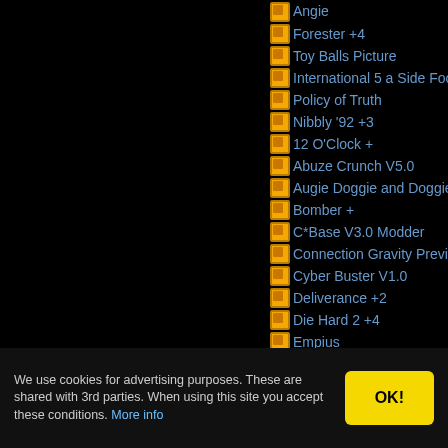Angie
Forester +4
Toy Balls Picture
International 5 a Side Football
Policy of Truth
Nibbly '92 +3
12 O'Clock +
Abuze Crunch V5.0
Augie Doggie and Doggie Daddy +2
Bomber +
C*Base V3.0 Modder
Connection Gravity Preview
Cyber Buster V1.0
Deliverance +2
Die Hard 2 +4
Empius
Eprom KeyMap Patcher
FLT-Bulletin
Frankenstein +3P
Hagar the Horrible +9I
Hudson Hawk +
We use cookies for advertising purposes. These are shared with 3rd parties. When using this site you accept these conditions. More info